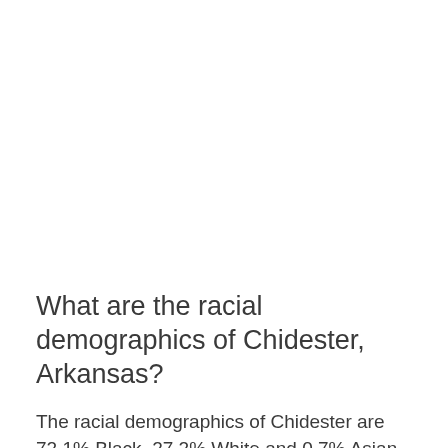What are the racial demographics of Chidester, Arkansas?
The racial demographics of Chidester are 72.1% Black, 27.2% White and 0.7% Asian.
What percentage of Chidester, Arkansas residents are below the poverty line?